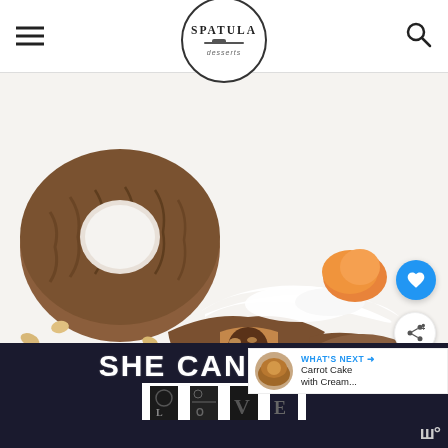Spatula Desserts — navigation header with hamburger menu and search icon
[Figure (photo): Close-up food photo of mini bundt carrot cakes with cream cheese frosting and candied carrot decoration, one split open to show interior texture, scattered walnuts on white marble surface]
[Figure (screenshot): WHAT'S NEXT arrow button with thumbnail showing Carrot Cake with Cream... label]
[Figure (photo): Advertisement banner: SHE CAN STEM with LOVE typographic art in black and white with decorative letters]